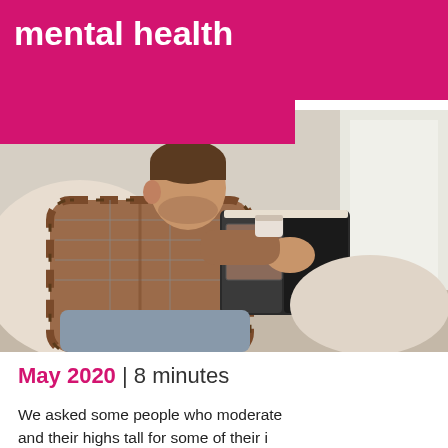mental health
[Figure (photo): A man sitting on a sofa reading a book, wearing a plaid shirt, photographed from the side in a bright room]
May 2020 | 8 minutes
We asked some people who moderate and their highs tall for some of their i